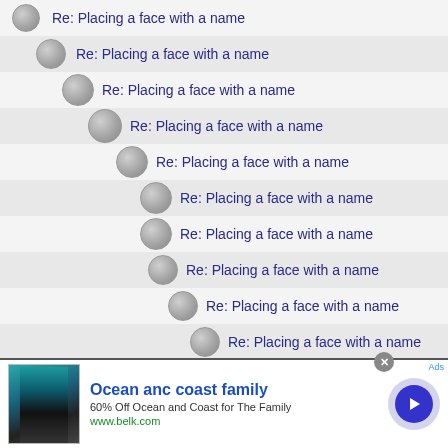Re: Placing a face with a name
Re: Placing a face with a name
Re: Placing a face with a name
Re: Placing a face with a name
Re: Placing a face with a name
Re: Placing a face with a name
Re: Placing a face with a name
Re: Placing a face with a name
Re: Placing a face with a name
Re: Placing a face with a name
Re: Placing a face with a name
Re: Placing a face with a name
Re: Placing a face with a name
[Figure (screenshot): Advertisement banner for Ocean anc coast family — 60% Off Ocean and Coast for The Family, www.belk.com]